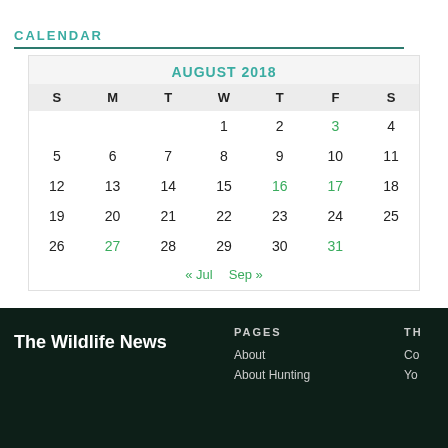CALENDAR
| S | M | T | W | T | F | S |
| --- | --- | --- | --- | --- | --- | --- |
|  |  |  | 1 | 2 | 3 | 4 |
| 5 | 6 | 7 | 8 | 9 | 10 | 11 |
| 12 | 13 | 14 | 15 | 16 | 17 | 18 |
| 19 | 20 | 21 | 22 | 23 | 24 | 25 |
| 26 | 27 | 28 | 29 | 30 | 31 |  |
« Jul   Sep »
The Wildlife News
PAGES
About
About Hunting
TH
Co
Yo